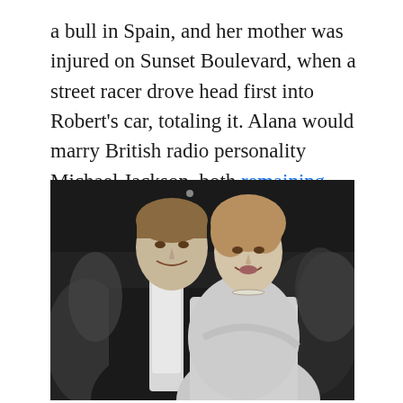a bull in Spain, and her mother was injured on Sunset Boulevard, when a street racer drove head first into Robert's car, totaling it. Alana would marry British radio personality Michael Jackson, both remaining friendly with Robert.
[Figure (photo): Black and white photograph of a young man and woman dressed formally at what appears to be a social event or party. The man is on the left wearing a dark jacket with a white scarf, and the woman is on the right wearing a light-colored strapless or off-shoulder dress, smiling at the camera.]